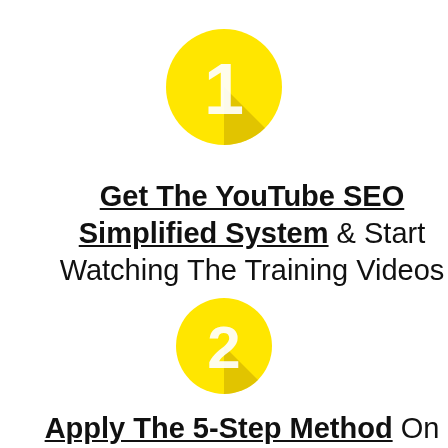[Figure (illustration): Yellow circle with number 1 and a shadow effect, step indicator icon]
Get The YouTube SEO Simplified System & Start Watching The Training Videos
[Figure (illustration): Yellow circle with number 2 and a shadow effect, step indicator icon]
Apply The 5-Step Method On Every Video Using The Checklist